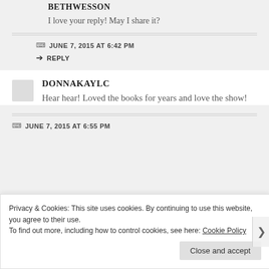BETHWESSON
I love your reply! May I share it?
JUNE 7, 2015 AT 6:42 PM
REPLY
DONNAKAYLC
Hear hear! Loved the books for years and love the show!
JUNE 7, 2015 AT 6:55 PM
Privacy & Cookies: This site uses cookies. By continuing to use this website, you agree to their use.
To find out more, including how to control cookies, see here: Cookie Policy
Close and accept